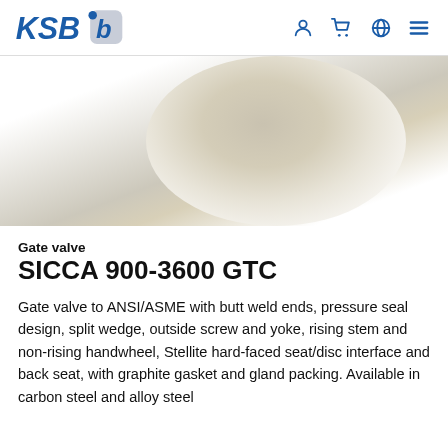KSB logo and navigation icons
[Figure (photo): Blurred/obscured product image of a gate valve (SICCA 900-3600 GTC) on white background]
Gate valve
SICCA 900-3600 GTC
Gate valve to ANSI/ASME with butt weld ends, pressure seal design, split wedge, outside screw and yoke, rising stem and non-rising handwheel, Stellite hard-faced seat/disc interface and back seat, with graphite gasket and gland packing. Available in carbon steel and alloy steel